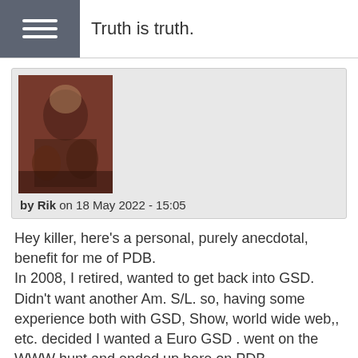Truth is truth.
[Figure (photo): Avatar image showing a person with dogs, dark reddish-brown toned photo]
by Rik on 18 May 2022 - 15:05
Hey killer, here's a personal, purely anecdotal, benefit for me of PDB.
In 2008, I retired, wanted to get back into GSD. Didn't want another Am. S/L. so, having some experience both with GSD, Show, world wide web,, etc. decided I wanted a Euro GSD . went on the WWW hunt and ended up here on PDB.
kinda showed my azz a time or two and apologized profusely.
anyway, here is a couple of dogs I ended up with